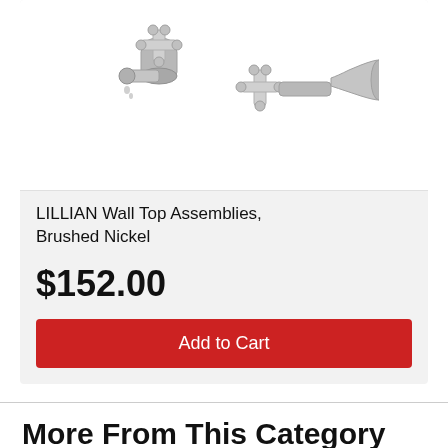[Figure (photo): LILLIAN Wall Top Assemblies in Brushed Nickel finish shown from above — two cross-handle tap assemblies with wall flanges and spout]
LILLIAN Wall Top Assemblies, Brushed Nickel
$152.00
Add to Cart
More From This Category
14% OFF  RRP $199.00